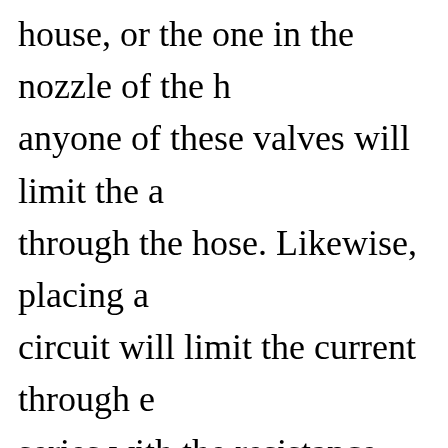house, or the one in the nozzle of the h anyone of these valves will limit the a through the hose. Likewise, placing a circuit will limit the current through e series with the resistance.
Circuit Laws
| Ohm's Law | Pow |
| --- | --- |
| E = I*R |  |
| I = E/R | I |